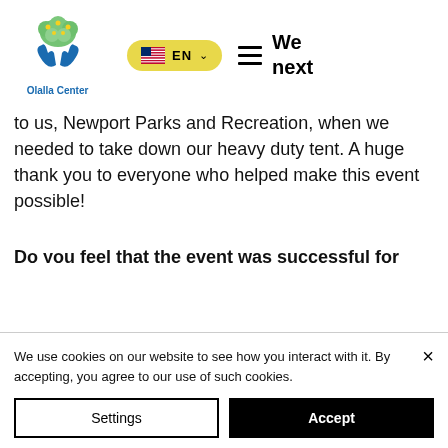[Figure (logo): Olalla Center logo: hands with green tree/leaves above, blue hands below, text 'Olalla Center' in blue beneath]
EN  We next
to us, Newport Parks and Recreation, when we needed to take down our heavy duty tent. A huge thank you to everyone who helped make this event possible!
Do you feel that the event was successful for Relief Nursery?
The event was very successful for the
We use cookies on our website to see how you interact with it. By accepting, you agree to our use of such cookies.